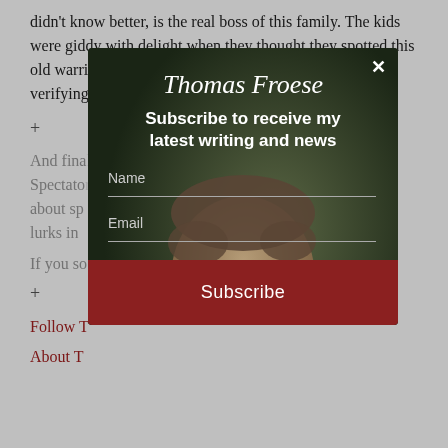didn't know better, is the real boss of this family. The kids were giddy with delight when they thought they spotted this old warrior and playboy tomcat lurking at a distance verifying that he, in fact, is still alive.
+
And fina... he Spectato... ats, but about sp... ion that lurks in...
If you so...
+
Follow T...
About T...
[Figure (screenshot): Modal popup overlay for Thomas Froese newsletter subscription. Dark background with a man's photo. Title 'Thomas Froese' in italic script, subtitle 'Subscribe to receive my latest writing and news', fields for Name and Email, and a red Subscribe button. Close X button in top right.]